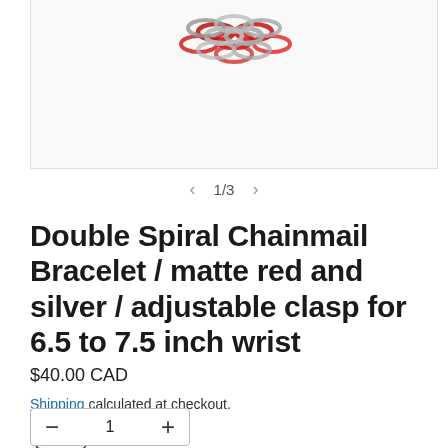[Figure (photo): Partial view of a chainmail bracelet in matte red and silver colors, shown from above against a light background.]
1/3
Double Spiral Chainmail Bracelet / matte red and silver / adjustable clasp for 6.5 to 7.5 inch wrist
$40.00 CAD
Shipping calculated at checkout.
Quantity